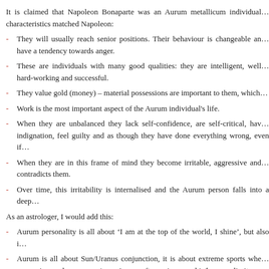It is claimed that Napoleon Bonaparte was an Aurum metallicum individual… characteristics matched Napoleon:
They will usually reach senior positions. Their behaviour is changeable and… have a tendency towards anger.
These are individuals with many good qualities: they are intelligent, well… hard-working and successful.
They value gold (money) – material possessions are important to them, which…
Work is the most important aspect of the Aurum individual's life.
When they are unbalanced they lack self-confidence, are self-critical, have… indignation, feel guilty and as though they have done everything wrong, even if…
When they are in this frame of mind they become irritable, aggressive and… contradicts them.
Over time, this irritability is internalised and the Aurum person falls into a deep…
As an astrologer, I would add this:
Aurum personality is all about ‘I am at the top of the world, I shine’, but also i…
Aurum is all about Sun/Uranus conjunction, it is about extreme sports whe… person is very brave, very ‘crazy’, very often going over his/her own limits.